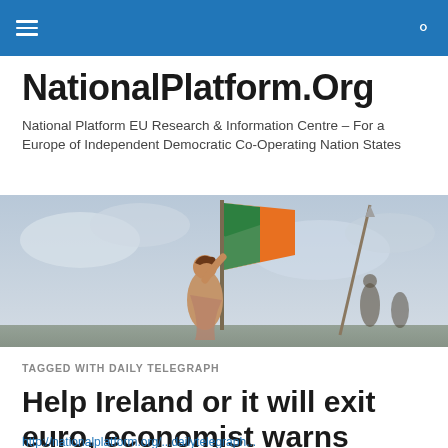NationalPlatform.Org – navigation bar
NationalPlatform.Org
National Platform EU Research & Information Centre – For a Europe of Independent Democratic Co-Operating Nation States
[Figure (illustration): Painting of a woman holding an Irish tricolour flag aloft, in the style of a classical liberty painting, with muted sky background.]
TAGGED WITH DAILY TELEGRAPH
Help Ireland or it will exit euro, economist warns
http://nationalplatform.org/...